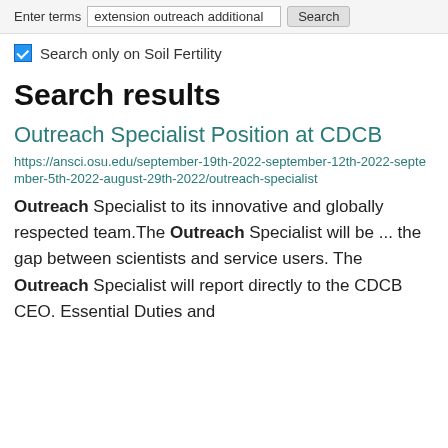Enter terms  extension outreach additional  Search
Search only on Soil Fertility
Search results
Outreach Specialist Position at CDCB
https://ansci.osu.edu/september-19th-2022-september-12th-2022-september-5th-2022-august-29th-2022/outreach-specialist
Outreach Specialist to its innovative and globally respected team.The Outreach Specialist will be ... the gap between scientists and service users. The Outreach Specialist will report directly to the CDCB CEO. Essential Duties and